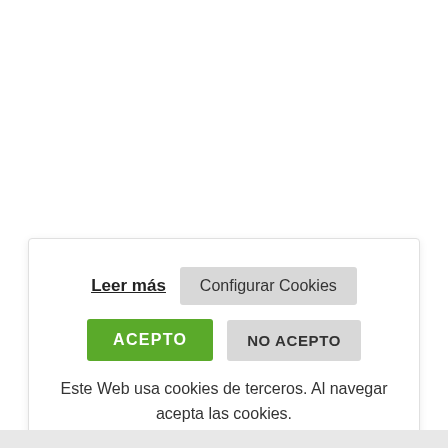Leer más
Configurar Cookies
ACEPTO
NO ACEPTO
Este Web usa cookies de terceros. Al navegar acepta las cookies.